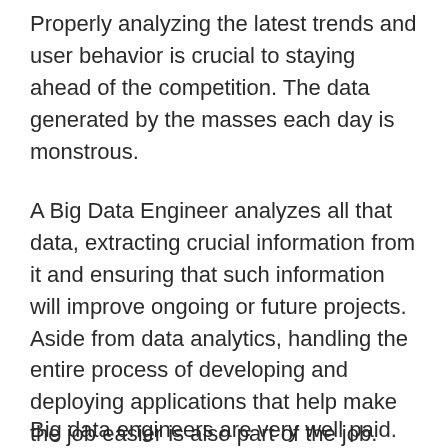Properly analyzing the latest trends and user behavior is crucial to staying ahead of the competition. The data generated by the masses each day is monstrous.
A Big Data Engineer analyzes all that data, extracting crucial information from it and ensuring that such information will improve ongoing or future projects. Aside from data analytics, handling the entire process of developing and deploying applications that help make the job easier is also part of the job.
Big data engineers are very well paid. Making